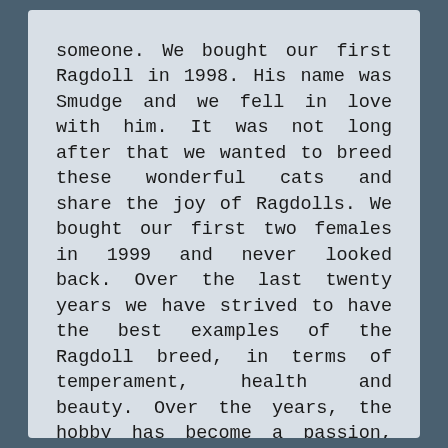someone. We bought our first Ragdoll in 1998. His name was Smudge and we fell in love with him. It was not long after that we wanted to breed these wonderful cats and share the joy of Ragdolls. We bought our first two females in 1999 and never looked back. Over the last twenty years we have strived to have the best examples of the Ragdoll breed, in terms of temperament, health and beauty. Over the years, the hobby has become a passion, we have started a very successful cat club, organise cat shows, my wife is an international all breed judge and i have been a member of the WCF executive board. We have had World Champions, Best of Breed titles, World Champion Titles . We breed for type, health and